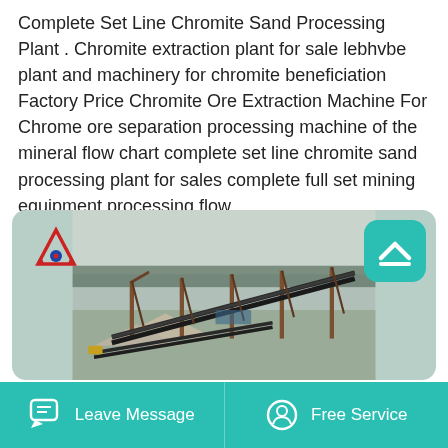Complete Set Line Chromite Sand Processing Plant . Chromite extraction plant for sale lebhvbe plant and machinery for chromite beneficiation Factory Price Chromite Ore Extraction Machine For Chrome ore separation processing machine of the mineral flow chart complete set line chromite sand processing plant for sales complete full set mining equipment processing flow.
[Figure (photo): Outdoor photograph of a chromite sand processing plant showing conveyor belts and structural steel framework at a mining site with trees in the background and a white/grey overcast sky. A company logo (red/blue triangular A symbol) is visible in the upper left of the image.]